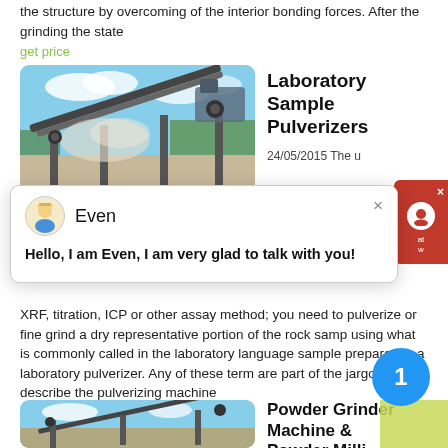the structure by overcoming of the interior bonding forces. After the grinding the state
get price
[Figure (photo): Outdoor industrial conveyor belt machinery with dust/smoke, blue sky background]
Laboratory Sample Pulverizers
24/05/2015 The u
[Figure (screenshot): Chat popup with avatar of 'Even', close button (×), message: Hello, I am Even, I am very glad to talk with you!]
XRF, titration, ICP or other assay method; you need to pulverize or fine grind a dry representative portion of the rock samp using what is commonly called in the laboratory language sample preparation a laboratory pulverizer. Any of these term are part of the jargon to describe the pulverizing machine
get price
[Figure (photo): Outdoor industrial conveyor belt machinery, blue sky, similar to top image]
Powder Grinder Machine & Powder Milli